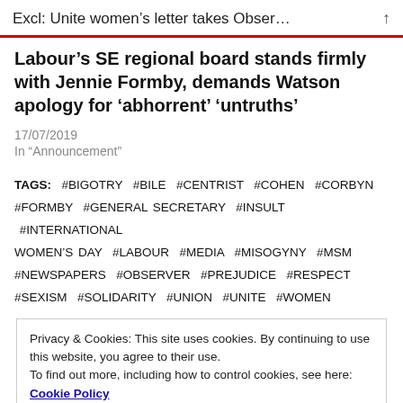Excl: Unite women's letter takes Obser...
Labour's SE regional board stands firmly with Jennie Formby, demands Watson apology for 'abhorrent' 'untruths'
17/07/2019
In "Announcement"
TAGS: #BIGOTRY #BILE #CENTRIST #COHEN #CORBYN #FORMBY #GENERAL SECRETARY #INSULT #INTERNATIONAL WOMEN'S DAY #LABOUR #MEDIA #MISOGYNY #MSM #NEWSPAPERS #OBSERVER #PREJUDICE #RESPECT #SEXISM #SOLIDARITY #UNION #UNITE #WOMEN
Privacy & Cookies: This site uses cookies. By continuing to use this website, you agree to their use.
To find out more, including how to control cookies, see here: Cookie Policy
Close and accept
Excellent letter and as an Observer reader I